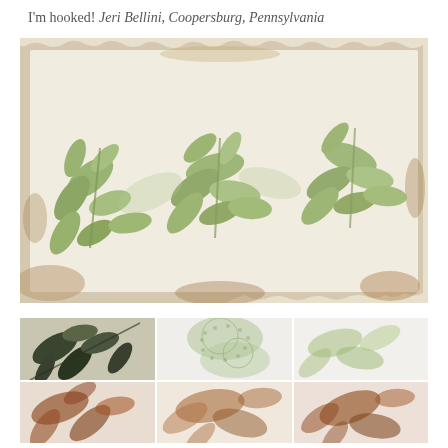I'm hooked! Jeri Bellini, Coopersburg, Pennsylvania
[Figure (photo): A large piece of handmade paper with deckled edges showing green leaf prints/eco-prints of botanical leaves arranged across the surface, with warm brown tannin staining around the edges.]
[Figure (photo): A grid of six botanical eco-print tiles: top row shows dark olive leaf prints on light background, pale green lacy plant prints on white, and pale green leaf prints on white; bottom row shows brown rust-colored botanical prints on white paper tiles.]